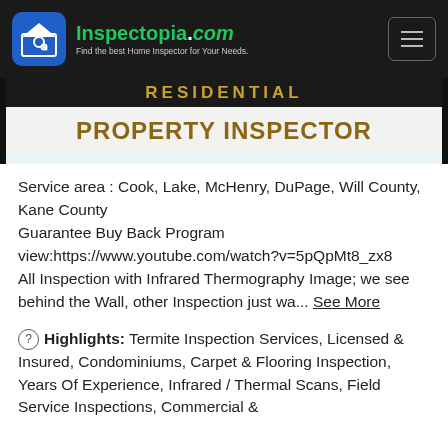Inspectopia.com — Find the best Home Inspector for Your Needs.
[Figure (screenshot): Banner image showing 'RESIDENTIAL PROPERTY INSPECTOR' in bold gold/brown text on dark background]
Service area : Cook, Lake, McHenry, DuPage, Will County, Kane County
Guarantee Buy Back Program
view:https://www.youtube.com/watch?v=5pQpMt8_zx8
All Inspection with Infrared Thermography Image; we see behind the Wall, other Inspection just wa... See More
Highlights: Termite Inspection Services, Licensed & Insured, Condominiums, Carpet & Flooring Inspection, Years Of Experience, Infrared / Thermal Scans, Field Service Inspections, Commercial &